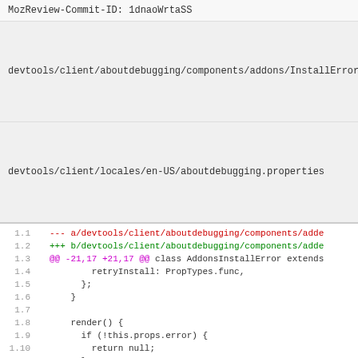MozReview-Commit-ID: 1dnaoWrtaSS
| File | Links |
| --- | --- |
| devtools/client/aboutdebugging/components/addons/InstallError.js | file | annotate | diff | comparison | revisions |
| devtools/client/locales/en-US/aboutdebugging.properties | file | annotate | diff | comparison | revisions |
[Figure (screenshot): Code diff showing changes to InstallError.js. Lines 1.1-1.18 of a unified diff view showing removed and added lines in a JavaScript file.]